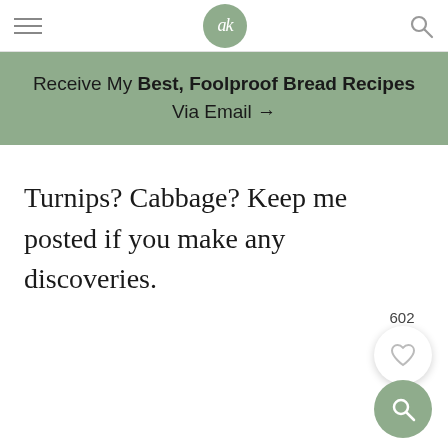ak logo, navigation header
Receive My Best, Foolproof Bread Recipes Via Email →
Turnips? Cabbage? Keep me posted if you make any discoveries.